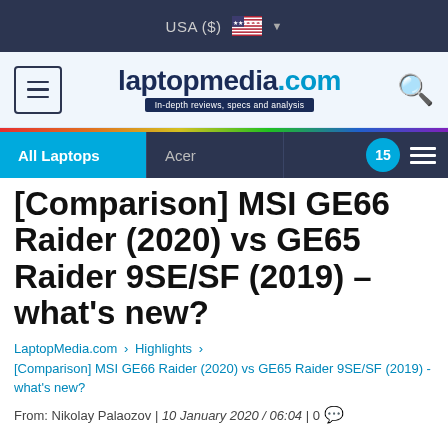USA ($)
[Figure (logo): laptopmedia.com logo with tagline: In-depth reviews, specs and analysis]
All Laptops | Acer | 15
[Comparison] MSI GE66 Raider (2020) vs GE65 Raider 9SE/SF (2019) – what's new?
LaptopMedia.com › Highlights › [Comparison] MSI GE66 Raider (2020) vs GE65 Raider 9SE/SF (2019) - what's new?
From: Nikolay Palaozov | 10 January 2020 / 06:04 | 0